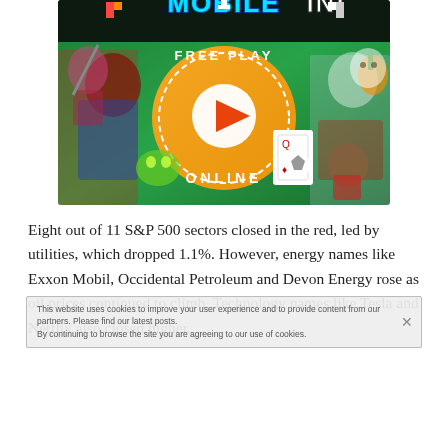[Figure (illustration): Mobile Ini game advertisement banner with cartoon characters, 'FREE PLAY ONLINE' orange circle button, game characters including a red-haired fighter, a green creature, a soccer ball kid, Santa Claus, and playing card characters on a green background with 'MOBILE INI' logo at top]
Eight out of 11 S&P 500 sectors closed in the red, led by utilities, which dropped 1.1%. However, energy names like Exxon Mobil, Occidental Petroleum and Devon Energy rose as oil prices continued to climb. Technology names like Tesla and Netflix also closed higher.